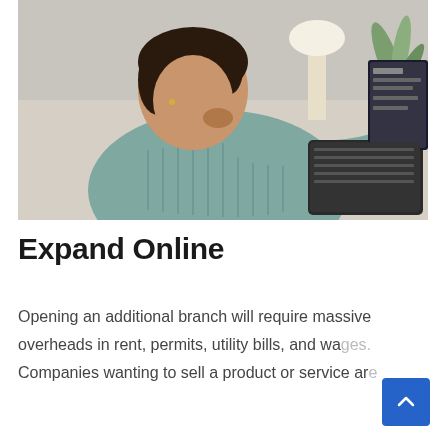[Figure (photo): A woman wearing a teal/grey knit sweater sitting on a couch, thoughtfully looking at a laptop screen, with a lamp and plant visible in the background.]
Expand Online
Opening an additional branch will require massive overheads in rent, permits, utility bills, and wages. Companies wanting to sell a product or service are much better served by an online audience. According